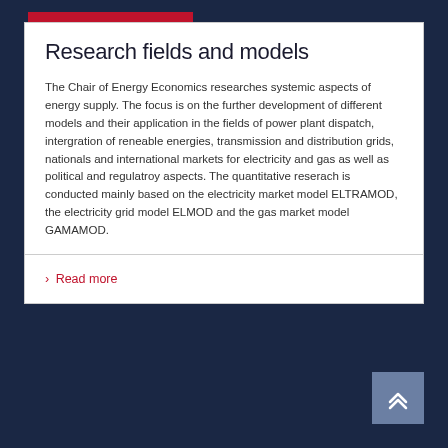Research fields and models
The Chair of Energy Economics researches systemic aspects of energy supply. The focus is on the further development of different models and their application in the fields of power plant dispatch, intergration of reneable energies, transmission and distribution grids, nationals and international markets for electricity and gas as well as political and regulatroy aspects. The quantitative reserach is conducted mainly based on the electricity market model ELTRAMOD, the electricity grid model ELMOD and the gas market model GAMAMOD.
› Read more